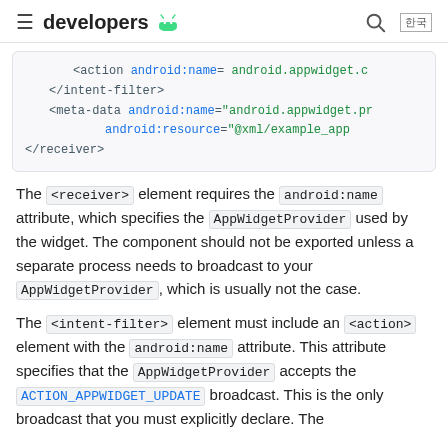≡ developers [android logo] 🔍 한국
[Figure (screenshot): Code block showing XML snippet: <action android:name= android.appwidget.c, </intent-filter>, <meta-data android:name="android.appwidget.pr android:resource="@xml/example_app, </receiver>]
The <receiver> element requires the android:name attribute, which specifies the AppWidgetProvider used by the widget. The component should not be exported unless a separate process needs to broadcast to your AppWidgetProvider, which is usually not the case.
The <intent-filter> element must include an <action> element with the android:name attribute. This attribute specifies that the AppWidgetProvider accepts the ACTION_APPWIDGET_UPDATE broadcast. This is the only broadcast that you must explicitly declare. The